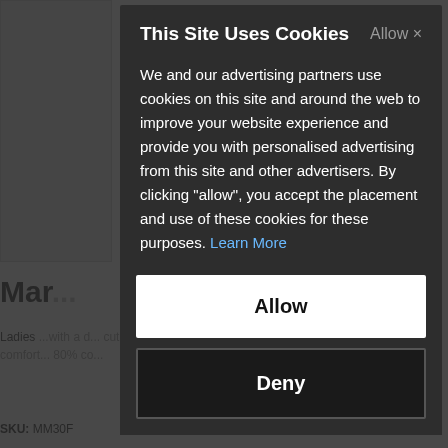[Figure (screenshot): Background product page partially visible behind a cookie consent modal overlay. Shows a product image, partial product title 'Mar...', product description starting with 'Ladies...', and SKU: MM30F.]
This Site Uses Cookies
We and our advertising partners use cookies on this site and around the web to improve your website experience and provide you with personalised advertising from this site and other advertisers. By clicking "allow", you accept the placement and use of these cookies for these purposes. Learn More
Allow
Deny